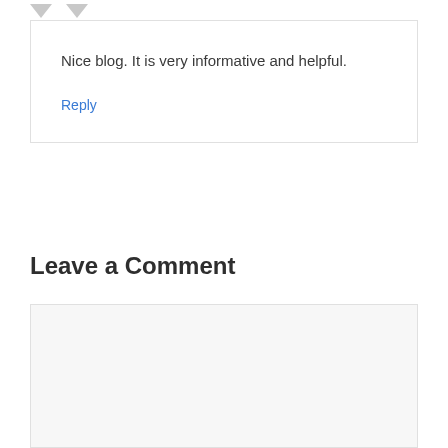[Figure (other): Two downward-pointing gray triangle arrows at top-left]
Nice blog. It is very informative and helpful.
Reply
Leave a Comment
[Figure (other): Empty comment textarea input box with light gray background]